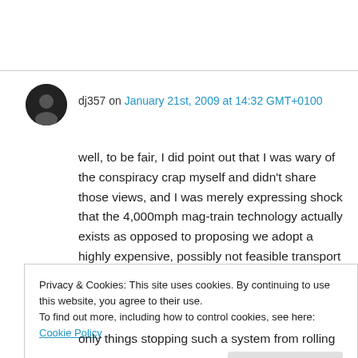dj357 on January 21st, 2009 at 14:32 GMT+0100
well, to be fair, I did point out that I was wary of the conspiracy crap myself and didn't share those views, and I was merely expressing shock that the 4,000mph mag-train technology actually exists as opposed to proposing we adopt a highly expensive, possibly not feasible transport system on a global scale, but I do need to stress
Privacy & Cookies: This site uses cookies. By continuing to use this website, you agree to their use.
To find out more, including how to control cookies, see here: Cookie Policy
Close and accept
only things stopping such a system from rolling